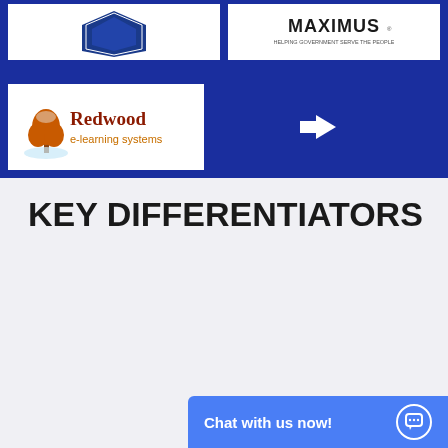[Figure (logo): Blue diamond/pentagon shaped logo (partially visible) on white background]
[Figure (logo): MAXIMUS - Helping Government Serve The People logo on white background]
[Figure (logo): Redwood e-learning systems logo with orange tree on white background]
[Figure (other): White right arrow on blue background]
KEY DIFFERENTIATORS
[Figure (infographic): Dollar sign icon in cyan/teal color]
PRICING
[Figure (infographic): Briefcase icon in cyan/teal color (partially visible)]
CUSTO
Chat with us now!